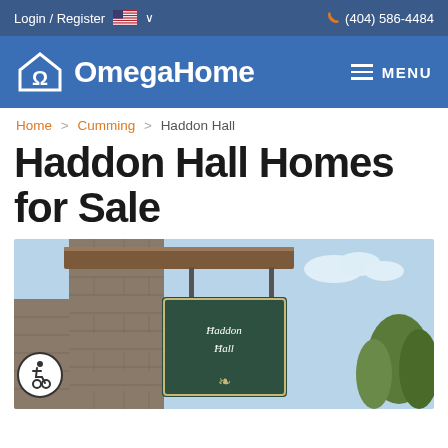Login / Register  🇺🇸 ∨  (404) 586-4484
OmegaHome
Home > Cumming > Haddon Hall
Haddon Hall Homes for Sale
[Figure (photo): Entrance sign for Haddon Hall neighborhood mounted on stone pillar with wooden beam, sign reads Haddon Hall in script lettering on dark green background]